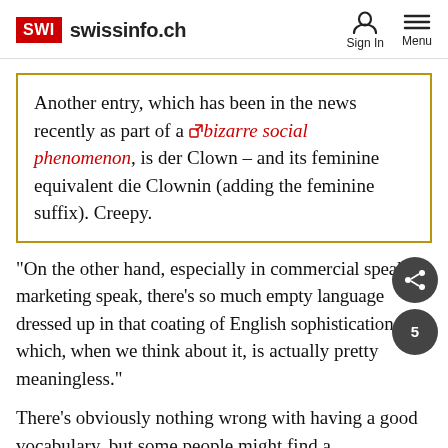SWI swissinfo.ch — Sign In  Menu
Another entry, which has been in the news recently as part of a bizarre social phenomenon, is der Clown – and its feminine equivalent die Clownin (adding the feminine suffix). Creepy.
“On the other hand, especially in commercial speak, in marketing speak, there’s so much empty language dressed up in that coating of English sophistication which, when we think about it, is actually pretty meaningless.”
There’s obviously nothing wrong with having a good vocabulary, but some people might find a